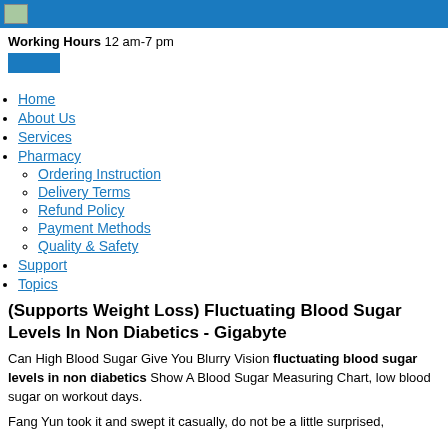Working Hours 12 am-7 pm
Home
About Us
Services
Pharmacy
Ordering Instruction
Delivery Terms
Refund Policy
Payment Methods
Quality & Safety
Support
Topics
(Supports Weight Loss) Fluctuating Blood Sugar Levels In Non Diabetics - Gigabyte
Can High Blood Sugar Give You Blurry Vision fluctuating blood sugar levels in non diabetics Show A Blood Sugar Measuring Chart, low blood sugar on workout days.
Fang Yun took it and swept it casually, do not be a little surprised,